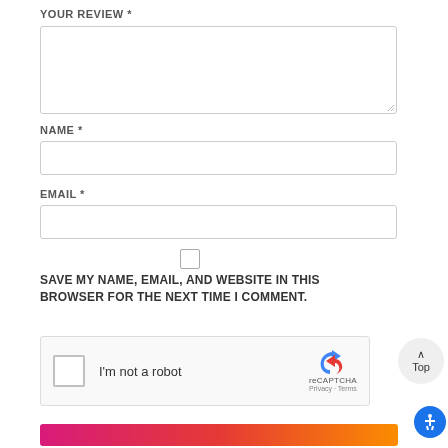YOUR REVIEW *
[Figure (screenshot): Empty textarea input box for review text]
NAME *
[Figure (screenshot): Single-line text input for name]
EMAIL *
[Figure (screenshot): Single-line text input for email]
[Figure (screenshot): Checkbox (unchecked)]
SAVE MY NAME, EMAIL, AND WEBSITE IN THIS BROWSER FOR THE NEXT TIME I COMMENT.
[Figure (screenshot): reCAPTCHA widget with checkbox, 'I'm not a robot' text, reCAPTCHA logo, Privacy and Terms links]
[Figure (screenshot): Top button (scroll to top) with caret and 'Top' label]
[Figure (screenshot): Gradient submit button (pink to orange) at the bottom]